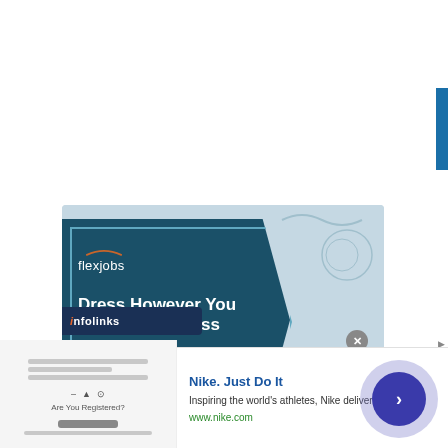[Figure (illustration): FlexJobs advertisement banner with dark teal hexagon shape on light blue background. Shows flexjobs logo, headline 'Dress However You Want for Success', and orange CTA button 'Hand-Screened Remote Jobs'. Infolinks branding bar at bottom left.]
[Figure (screenshot): Nike ad banner at bottom: thumbnail image of a webpage on the left, Nike. Just Do It headline in blue, description 'Inspiring the world's athletes, Nike delivers the deals', url www.nike.com in green, and a purple arrow circle button on the right.]